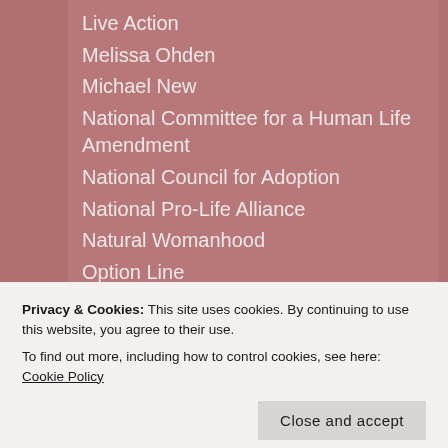Live Action
Melissa Ohden
Michael New
National Committee for a Human Life Amendment
National Council for Adoption
National Pro-Life Alliance
Natural Womanhood
Option Line
Pregnancy Line
Priests for Life
Pro-Choice Violence
Pro-Life Alliance of Gays & Lesbians
Rachel's Vineyard
Radiance Foundation
Privacy & Cookies: This site uses cookies. By continuing to use this website, you agree to their use.
To find out more, including how to control cookies, see here: Cookie Policy
Close and accept
Stand Up for Religious Freedom